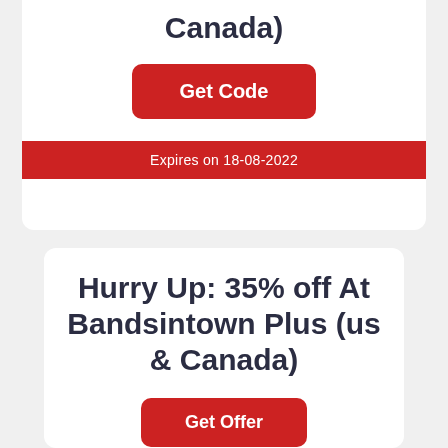Canada)
Get Code
Expires on 18-08-2022
Hurry Up: 35% off At Bandsintown Plus (us & Canada)
Get Offer